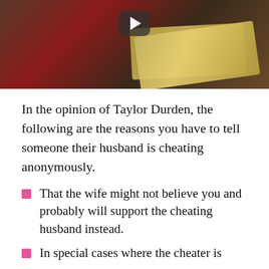[Figure (photo): Video thumbnail showing blurred image of cash/money bills with a play button overlay, against a dark red/brown background]
In the opinion of Taylor Durden, the following are the reasons you have to tell someone their husband is cheating anonymously.
That the wife might not believe you and probably will support the cheating husband instead.
In special cases where the cheater is